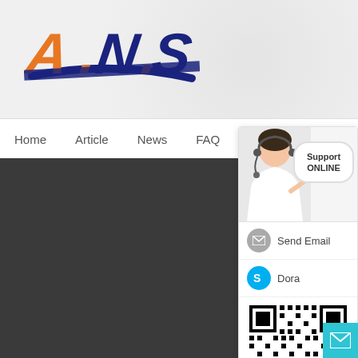[Figure (logo): A.N.S company logo with orange and dark blue stylized letters and a blue horizontal stripe]
Home   Article   News   FAQ   Contact
[Figure (screenshot): Support online panel showing a customer service representative, Send Email option, Dora Skype option, and a QR code]
[Figure (other): Cyan email/mail button at bottom right corner]